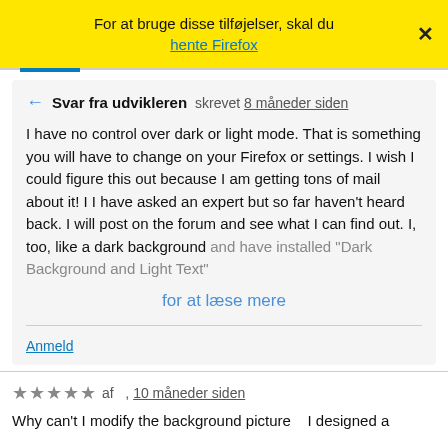For at bruge disse tilføjelser, skal du hente Firefox  ×
Svar fra udvikleren skrevet 8 måneder siden

I have no control over dark or light mode. That is something you will have to change on your Firefox or settings. I wish I could figure this out because I am getting tons of mail about it! I I have asked an expert but so far haven't heard back. I will post on the forum and see what I can find out. I, too, like a dark background and have installed "Dark Background and Light Text"
for at læse mere
Anmeld
★★★★★ af  , 10 måneder siden
Why can't I modify the background picture   I designed a